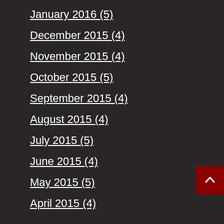January 2016 (5)
December 2015 (4)
November 2015 (4)
October 2015 (5)
September 2015 (4)
August 2015 (4)
July 2015 (5)
June 2015 (4)
May 2015 (5)
April 2015 (4)